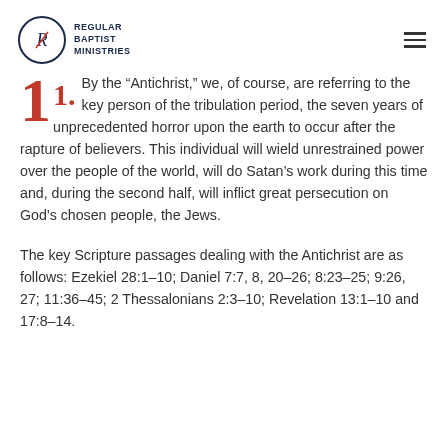Regular Baptist Ministries
11. By the “Antichrist,” we, of course, are referring to the key person of the tribulation period, the seven years of unprecedented horror upon the earth to occur after the rapture of believers. This individual will wield unrestrained power over the people of the world, will do Satan’s work during this time and, during the second half, will inflict great persecution on God’s chosen people, the Jews.
The key Scripture passages dealing with the Antichrist are as follows: Ezekiel 28:1–10; Daniel 7:7, 8, 20–26; 8:23–25; 9:26, 27; 11:36–45; 2 Thessalonians 2:3–10; Revelation 13:1–10 and 17:8–14.